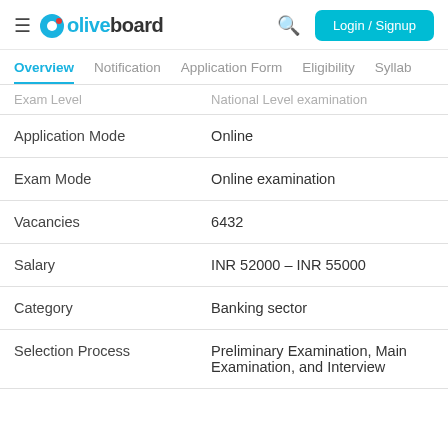Oliveboard — Login / Signup
Overview | Notification | Application Form | Eligibility | Syllabi
| Field | Value |
| --- | --- |
| Exam Level | National Level examination |
| Application Mode | Online |
| Exam Mode | Online examination |
| Vacancies | 6432 |
| Salary | INR 52000 – INR 55000 |
| Category | Banking sector |
| Selection Process | Preliminary Examination, Main Examination, and Interview |